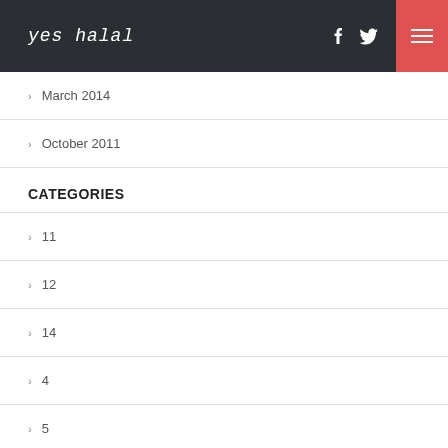yes halal
March 2014
October 2011
CATEGORIES
11
12
14
4
5
5 reel slots
6